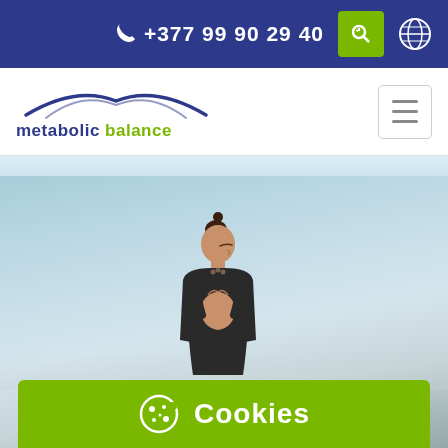+377 99 90 29 40
[Figure (logo): Metabolic Balance logo with bird wing arc graphic and text 'metabolic balance']
[Figure (photo): Woman meditating outdoors with blue sky background, hands in prayer position, hair in bun]
Cookies